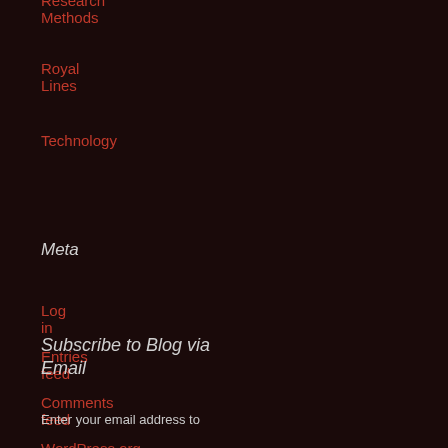Research Methods
Royal Lines
Technology
Meta
Log in
Entries feed
Comments feed
WordPress.org
Subscribe to Blog via Email
Enter your email address to